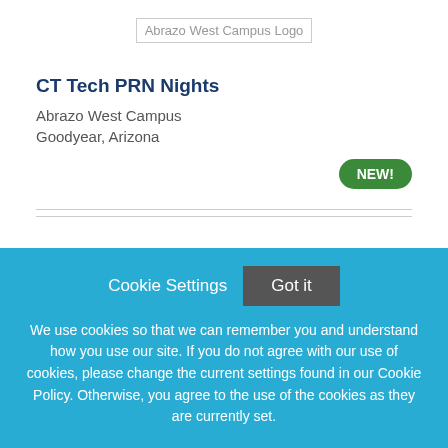[Figure (logo): Abrazo West Campus Logo (broken image placeholder)]
CT Tech PRN Nights
Abrazo West Campus
Goodyear, Arizona
[Figure (other): NEW! badge in green rounded rectangle]
Cookie Settings   Got it
We use cookies so that we can remember you and understand how you use our site. If you do not agree with our use of cookies, please change the current settings found in our Cookie Policy. Otherwise, you agree to the use of the cookies as they are currently set.